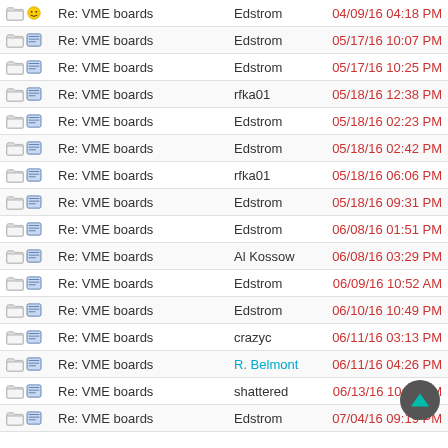| Icons | Subject | Sender | Date/Time |
| --- | --- | --- | --- |
| folder+smiley | Re: VME boards | Edstrom | 04/09/16 04:18 PM |
| folder+msg | Re: VME boards | Edstrom | 05/17/16 10:07 PM |
| folder+msg | Re: VME boards | Edstrom | 05/17/16 10:25 PM |
| folder+msg | Re: VME boards | rfka01 | 05/18/16 12:38 PM |
| folder+msg | Re: VME boards | Edstrom | 05/18/16 02:23 PM |
| folder+msg | Re: VME boards | Edstrom | 05/18/16 02:42 PM |
| folder+msg | Re: VME boards | rfka01 | 05/18/16 06:06 PM |
| folder+msg | Re: VME boards | Edstrom | 05/18/16 09:31 PM |
| folder+msg | Re: VME boards | Edstrom | 06/08/16 01:51 PM |
| folder+msg | Re: VME boards | Al Kossow | 06/08/16 03:29 PM |
| folder+msg | Re: VME boards | Edstrom | 06/09/16 10:52 AM |
| folder+msg | Re: VME boards | Edstrom | 06/10/16 10:49 PM |
| folder+msg | Re: VME boards | crazyc | 06/11/16 03:13 PM |
| folder+msg | Re: VME boards | R. Belmont | 06/11/16 04:26 PM |
| folder+msg | Re: VME boards | shattered | 06/13/16 10:23 AM |
| folder+msg | Re: VME boards | Edstrom | 07/04/16 09:19 PM |